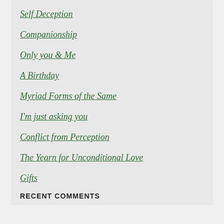Self Deception
Companionship
Only you & Me
A Birthday
Myriad Forms of the Same
I'm just asking you
Conflict from Perception
The Yearn for Unconditional Love
Gifts
RECENT COMMENTS